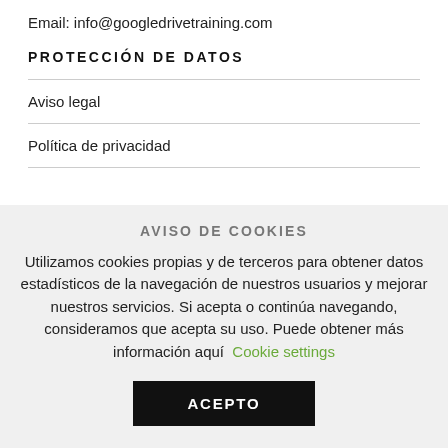Email: info@googledrivetraining.com
PROTECCIÓN DE DATOS
Aviso legal
Política de privacidad
AVISO DE COOKIES
Utilizamos cookies propias y de terceros para obtener datos estadísticos de la navegación de nuestros usuarios y mejorar nuestros servicios. Si acepta o continúa navegando, consideramos que acepta su uso. Puede obtener más información aquí Cookie settings
ACEPTO